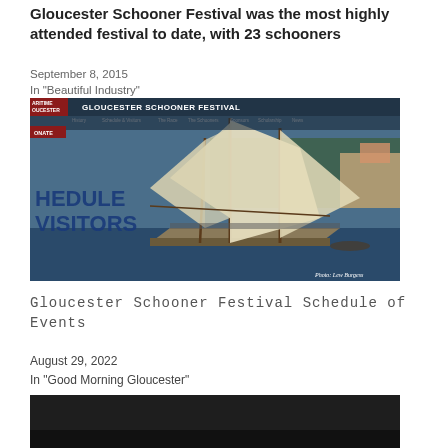Gloucester Schooner Festival was the most highly attended festival to date, with 23 schooners
September 8, 2015
In "Beautiful Industry"
[Figure (screenshot): Screenshot of the Gloucester Schooner Festival website showing a photograph of tall sailing schooners on the water. The website header reads 'GLOUCESTER SCHOONER FESTIVAL' with navigation links including History, Schedule & Visitors, The Race, The Schooners, Sponsors, Scholarship, News. A red badge reads 'ARITIME OUCESTER'. There is a red DONATE button and large blue text reading 'HEDULE' and 'VISITORS' overlaid on a schooner photo. Photo credit: Lew Burgess.]
Gloucester Schooner Festival Schedule of Events
August 29, 2022
In "Good Morning Gloucester"
[Figure (photo): Dark/black image, bottom portion of page, appears to be a dark photograph partially visible.]